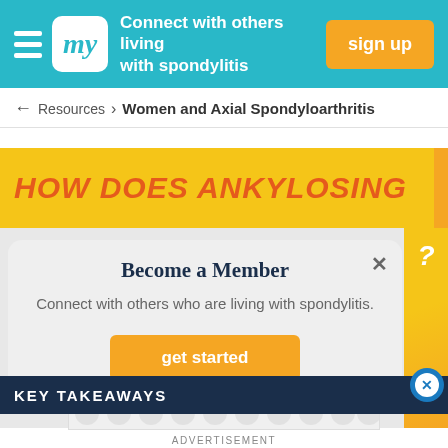Connect with others living with spondylitis | sign up
← Resources > Women and Axial Spondyloarthritis
[Figure (screenshot): Yellow banner with orange italic bold text: HOW DOES ANKYLOSING]
Become a Member
Connect with others who are living with spondylitis.
get started
KEY TAKEAWAYS
ADVERTISEMENT